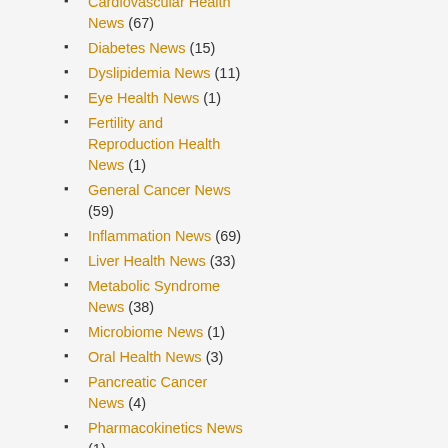Cardiovascular Health News (67)
Diabetes News (15)
Dyslipidemia News (11)
Eye Health News (1)
Fertility and Reproduction Health News (1)
General Cancer News (59)
Inflammation News (69)
Liver Health News (33)
Metabolic Syndrome News (38)
Microbiome News (1)
Oral Health News (3)
Pancreatic Cancer News (4)
Pharmacokinetics News (1)
Prostate Cancer News (13)
Radiation Protection News (7)
Renal Health News (1)
Respiratory Health News (2)
Skin Care News (77)
Safety and Bioavailability (16)
Scientific Research (1,965)